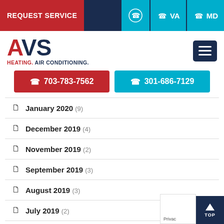REQUEST SERVICE | VA | MD
[Figure (logo): AVS Heating. Air Conditioning. logo with hamburger menu button]
703-783-7562 | 301-686-7129
January 2020 (9)
December 2019 (4)
November 2019 (2)
September 2019 (3)
August 2019 (3)
July 2019 (2)
June 2019 (2)